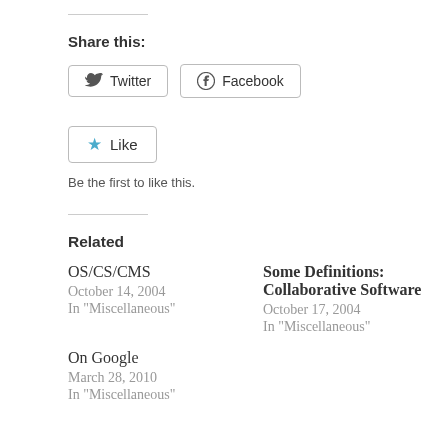Share this:
Twitter  Facebook
Like
Be the first to like this.
Related
OS/CS/CMS
October 14, 2004
In "Miscellaneous"
Some Definitions: Collaborative Software
October 17, 2004
In "Miscellaneous"
On Google
March 28, 2010
In "Miscellaneous"